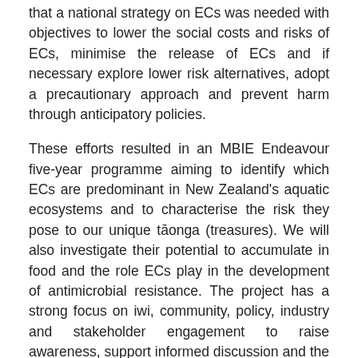that a national strategy on ECs was needed with objectives to lower the social costs and risks of ECs, minimise the release of ECs and if necessary explore lower risk alternatives, adopt a precautionary approach and prevent harm through anticipatory policies.
These efforts resulted in an MBIE Endeavour five-year programme aiming to identify which ECs are predominant in New Zealand's aquatic ecosystems and to characterise the risk they pose to our unique tāonga (treasures). We will also investigate their potential to accumulate in food and the role ECs play in the development of antimicrobial resistance. The project has a strong focus on iwi, community, policy, industry and stakeholder engagement to raise awareness, support informed discussion and the design of practical strategies to better manage the risk and impacts of ECs in New Zealand.
The multi-disciplinary team of toxicologists, chemists,